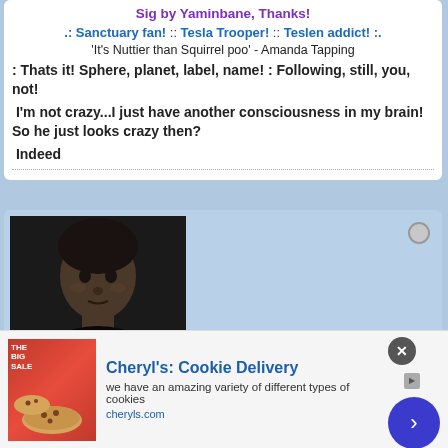Sig by Yaminbane, Thanks!
.: Sanctuary fan! :: Tesla Trooper! :: Teslen addict! :.
'It's Nuttier than Squirrel poo' - Amanda Tapping
: Thats it! Sphere, planet, label, name! : Following, still, you, not!
I'm not crazy...I just have another consciousness in my brain!  So he just looks crazy then?
Indeed
[Figure (photo): Dark-haired man portrait photo used as forum avatar]
es!
Major
Member Since: Nov 2009   Posts: 2643
[Figure (screenshot): Advertisement for Cheryl's Cookie Delivery with cookie image, title, description text 'we have an amazing variety of different types of cookies', and cheryls.com URL]